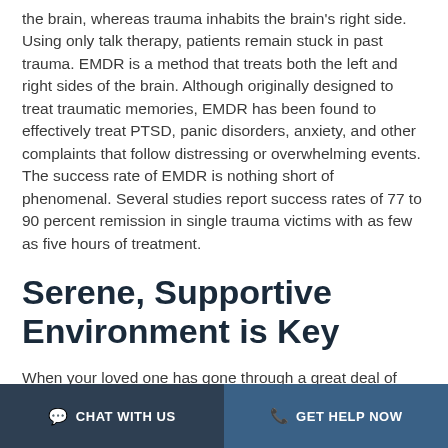the brain, whereas trauma inhabits the brain's right side. Using only talk therapy, patients remain stuck in past trauma. EMDR is a method that treats both the left and right sides of the brain. Although originally designed to treat traumatic memories, EMDR has been found to effectively treat PTSD, panic disorders, anxiety, and other complaints that follow distressing or overwhelming events. The success rate of EMDR is nothing short of phenomenal. Several studies report success rates of 77 to 90 percent remission in single trauma victims with as few as five hours of treatment.
Serene, Supportive Environment is Key
When your loved one has gone through a great deal of past trauma, in addition to addiction of one form or
CHAT WITH US   GET HELP NOW